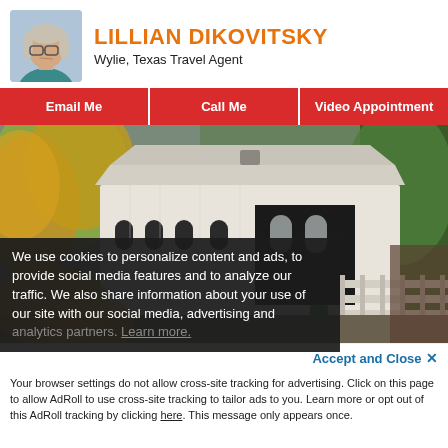LILLIAN DIKOVITSKY
Wylie, Texas Travel Agent
Email Me
Call Me
Video Appointment
[Figure (photo): Photo of a white covered bridge surrounded by autumn foliage and evergreen trees, with a wooden railing and fencing visible on the right side.]
We use cookies to personalize content and ads, to provide social media features and to analyze our traffic. We also share information about your use of our site with our social media, advertising and analytics partners. Learn more.
Accept and Close ×
Your browser settings do not allow cross-site tracking for advertising. Click on this page to allow AdRoll to use cross-site tracking to tailor ads to you. Learn more or opt out of this AdRoll tracking by clicking here. This message only appears once.